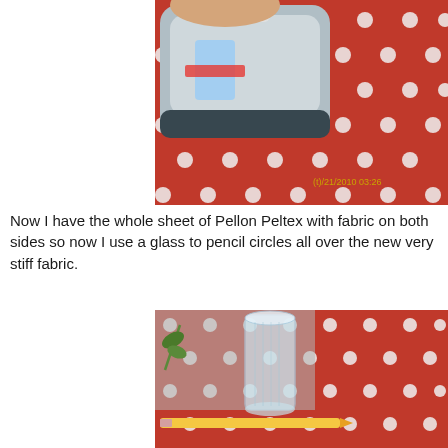[Figure (photo): A hand holding a clothes iron pressing down on red polka-dot fabric on an ironing board. A timestamp '121/2010 03:26' is visible in the lower right of the photo.]
Now I have the whole sheet of Pellon Peltex with fabric on both sides so now I use a glass to pencil circles all over the new very stiff fabric.
[Figure (photo): A glass cup placed on red polka-dot fabric on a table, with a yellow pencil lying beside it. A plant is visible in the background.]